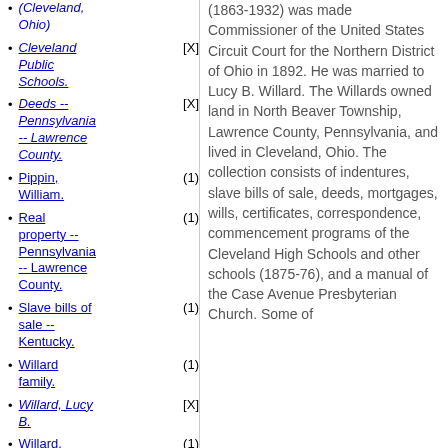(Cleveland, Ohio)
Cleveland Public Schools. [X]
Deeds -- Pennsylvania -- Lawrence County. [X]
Pippin, William. (1)
Real property -- Pennsylvania -- Lawrence County. (1)
Slave bills of sale -- Kentucky. (1)
Willard family. (1)
Willard, Lucy B. [X]
Willard, Thomas C., 1863-1932. (1)
(1863-1932) was made Commissioner of the United States Circuit Court for the Northern District of Ohio in 1892. He was married to Lucy B. Willard. The Willards owned land in North Beaver Township, Lawrence County, Pennsylvania, and lived in Cleveland, Ohio. The collection consists of indentures, slave bills of sale, deeds, mortgages, wills, certificates, correspondence, commencement programs of the Cleveland High Schools and other schools (1875-76), and a manual of the Case Avenue Presbyterian Church. Some of